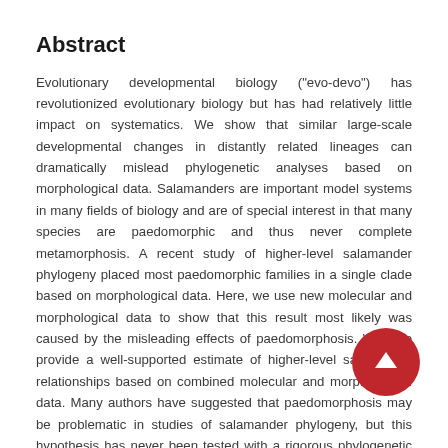Abstract
Evolutionary developmental biology ("evo-devo") has revolutionized evolutionary biology but has had relatively little impact on systematics. We show that similar large-scale developmental changes in distantly related lineages can dramatically mislead phylogenetic analyses based on morphological data. Salamanders are important model systems in many fields of biology and are of special interest in that many species are paedomorphic and thus never complete metamorphosis. A recent study of higher-level salamander phylogeny placed most paedomorphic families in a single clade based on morphological data. Here, we use new molecular and morphological data to show that this result most likely was caused by the misleading effects of paedomorphosis. We also provide a well-supported estimate of higher-level salamander relationships based on combined molecular and morphological data. Many authors have suggested that paedomorphosis may be problematic in studies of salamander phylogeny, but this hypothesis has never been tested with a rigorous phylogenetic analysis. We find that the misleading effects of paedomorphosis on phylogenetic analysis go beyond the sharing of homoplastic